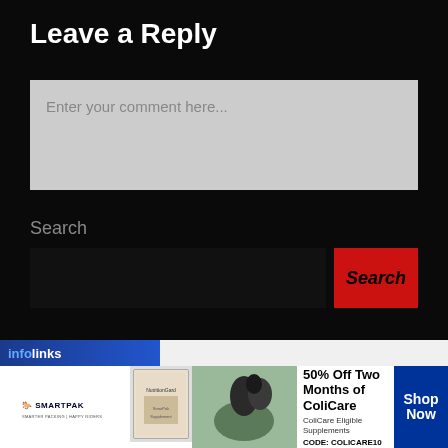Leave a Reply
Enter your comment here...
Search
Search
[Figure (screenshot): Infolinks advertisement banner with SmartPak branding, a horse and rider image, and text reading '50% Off Two Months of ColiCare, ColiCare Eligible Supplements, CODE: COLICARE10' with a blue 'Shop Now' button and close button.]